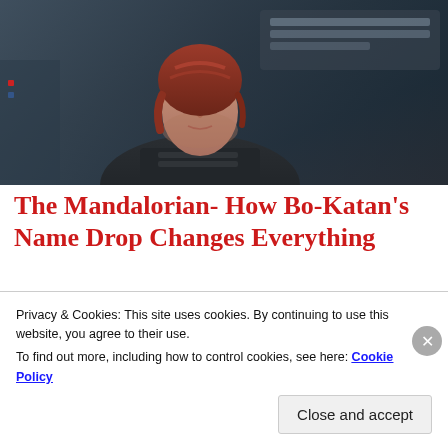[Figure (photo): Screenshot of a woman with short red hair in dark armor or a dark jacket, seated in what appears to be a vehicle or cockpit interior. The image is from The Mandalorian TV show featuring Bo-Katan.]
The Mandalorian- How Bo-Katan's Name Drop Changes Everything
Take the foundling to the city of Calodon on the forest planet of Corvus. There you will find Ahsoka Tano. Tell
Privacy & Cookies: This site uses cookies. By continuing to use this website, you agree to their use.
To find out more, including how to control cookies, see here: Cookie Policy
Close and accept